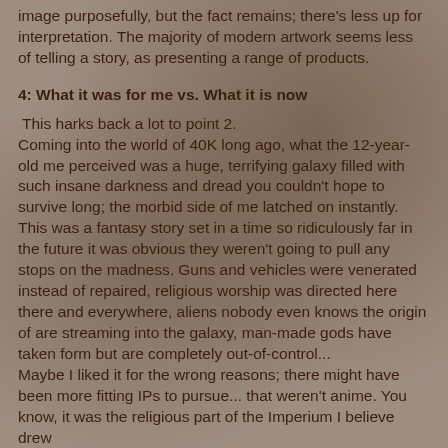image purposefully, but the fact remains; there's less up for interpretation.  The majority of modern artwork seems less of telling a story, as presenting a range of products.
4: What it was for me vs. What it is now
This harks back a lot to point 2.
Coming into the world of 40K long ago, what the 12-year-old me perceived was a huge, terrifying galaxy filled with such insane darkness and dread you couldn't hope to survive long; the morbid side of me latched on instantly.  This was a fantasy story set in a time so ridiculously far in the future it was obvious they weren't going to pull any stops on the madness.  Guns and vehicles were venerated instead of repaired, religious worship was directed here there and everywhere, aliens nobody even knows the origin of are streaming into the galaxy, man-made gods have taken form but are completely out-of-control...
Maybe I liked it for the wrong reasons; there might have been more fitting IPs to pursue... that weren't anime.  You know, it was the religious part of the Imperium I believe drew